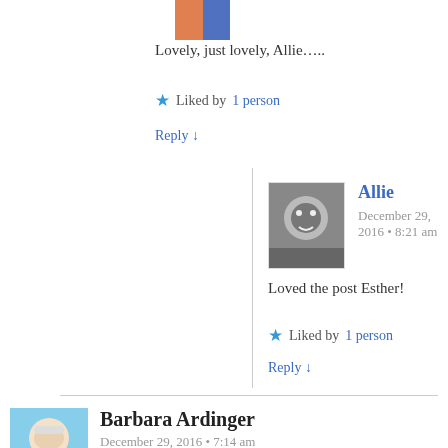Lovely, just lovely, Allie…..
★ Liked by 1 person
Reply ↓
Allie
December 29, 2016 • 8:21 am
Loved the post Esther!
★ Liked by 1 person
Reply ↓
Barbara Ardinger
December 29, 2016 • 7:14 am
Love this post! You and the previous commenters are sure right about the power of music, which, even when it's sung